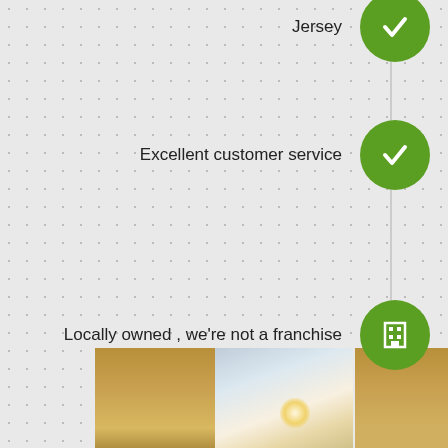Jersey
Excellent customer service
Locally owned , we're not a franchise
Dependable, always on time
Licensed and Insured
[Figure (photo): Interior room photo showing wooden door frames and soft lighting]